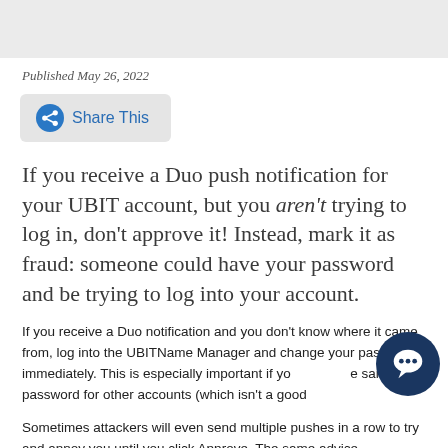[Figure (other): Gray banner image at top of page]
Published May 26, 2022
[Figure (other): Share This button with share icon]
If you receive a Duo push notification for your UBIT account, but you aren't trying to log in, don't approve it! Instead, mark it as fraud: someone could have your password and be trying to log into your account.
If you receive a Duo notification and you don't know where it came from, log into the UBITName Manager and change your password immediately. This is especially important if you use the same password for other accounts (which isn't a good…
Sometimes attackers will even send multiple pushes in a row to try and annoy you until you click Approve. The same advice…